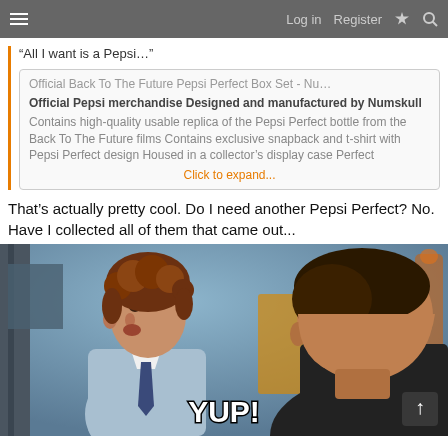Log in  Register
“All I want is a Pepsi…”
Official Back To The Future Pepsi Perfect Box Set - Nu...
Official Pepsi merchandise Designed and manufactured by Numskull Contains high-quality usable replica of the Pepsi Perfect bottle from the Back To The Future films Contains exclusive snapback and t-shirt with Pepsi Perfect design Housed in a collector's display case Perfect
Click to expand...
That's actually pretty cool. Do I need another Pepsi Perfect? No. Have I collected all of them that came out...
[Figure (photo): Movie still/meme image showing two people facing each other in conversation, with large white bold text 'YUP!' at the bottom. The scene appears to be from a comedy film.]